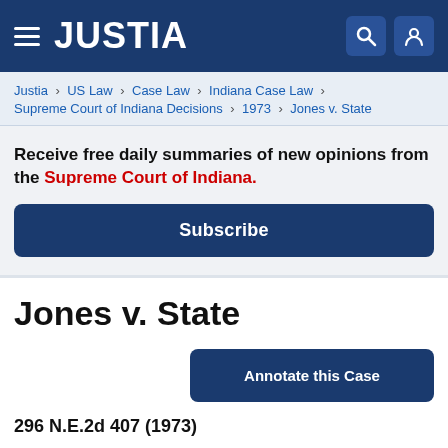JUSTIA
Justia › US Law › Case Law › Indiana Case Law › Supreme Court of Indiana Decisions › 1973 › Jones v. State
Receive free daily summaries of new opinions from the Supreme Court of Indiana.
Subscribe
Jones v. State
Annotate this Case
296 N.E.2d 407 (1973)